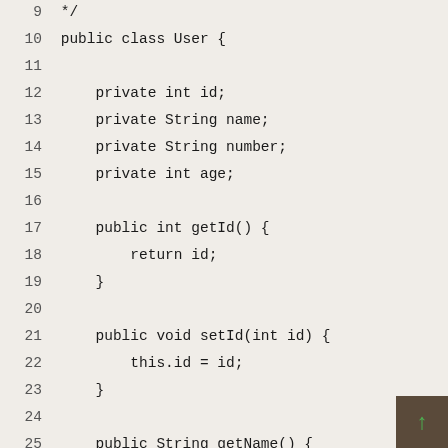Code listing: Java User class (lines 9-28)
9  */
10 public class User {
11
12     private int id;
13     private String name;
14     private String number;
15     private int age;
16
17     public int getId() {
18         return id;
19     }
20
21     public void setId(int id) {
22         this.id = id;
23     }
24
25     public String getName() {
26         return name;
27     }
28